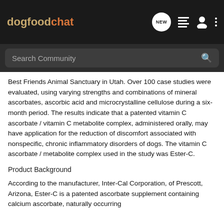dogfoodchat
Best Friends Animal Sanctuary in Utah. Over 100 case studies were evaluated, using varying strengths and combinations of mineral ascorbates, ascorbic acid and microcrystalline cellulose during a six-month period. The results indicate that a patented vitamin C ascorbate / vitamin C metabolite complex, administered orally, may have application for the reduction of discomfort associated with nonspecific, chronic inflammatory disorders of dogs. The vitamin C ascorbate / metabolite complex used in the study was Ester-C.
Product Background
According to the manufacturer, Inter-Cal Corporation, of Prescott, Arizona, Ester-C is a patented ascorbate supplement containing calcium ascorbate, naturally occurring